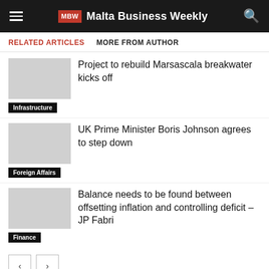MBW Malta Business Weekly
RELATED ARTICLES   MORE FROM AUTHOR
Project to rebuild Marsascala breakwater kicks off
Infrastructure
UK Prime Minister Boris Johnson agrees to step down
Foreign Affairs
Balance needs to be found between offsetting inflation and controlling deficit – JP Fabri
Finance